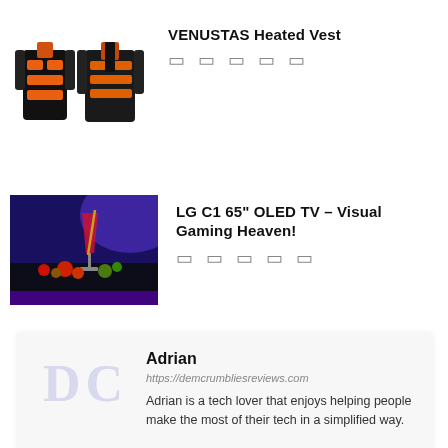[Figure (photo): Two heated vests side by side — one orange-heated-zones view and one front view, black with orange heating panels]
VENUSTAS Heated Vest
★ ★ ★ ★ ★ (star rating icons)
[Figure (photo): LG C1 OLED TV screen showing a colorful cocktail drink with fruits on a dark background with blue/purple ambient lighting]
LG C1 65" OLED TV – Visual Gaming Heaven!
★ ★ ★ ★ ★ (star rating icons)
Adrian
https://demcrumbliesreviews.com
Adrian is a tech lover that enjoys helping people make the most of their tech in a simplified way.